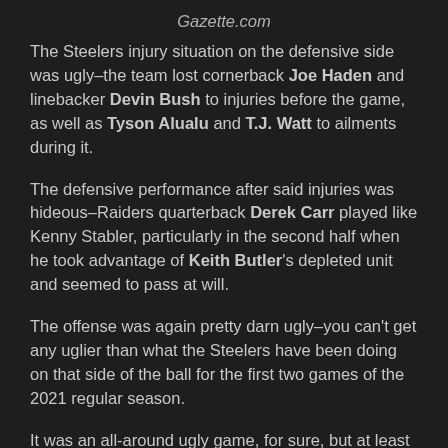Gazette.com
The Steelers injury situation on the defensive side was ugly–the team lost cornerback Joe Haden and linebacker Devin Bush to injuries before the game, as well as Tyson Alualu and T.J. Watt to ailments during it.
The defensive performance after said injuries was hideous–Raiders quarterback Derek Carr played like Kenny Stabler, particularly in the second half when he took advantage of Keith Butler's depleted unit and seemed to pass at will.
The offense was again pretty darn ugly–you can't get any uglier than what the Steelers have been doing on that side of the ball for the first two games of the 2021 regular season.
It was an all-around ugly game, for sure, but at least